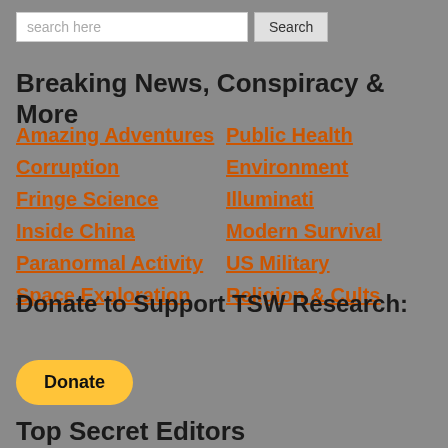search here
Breaking News, Conspiracy & More
Amazing Adventures
Public Health
Corruption
Environment
Fringe Science
Illuminati
Inside China
Modern Survival
Paranormal Activity
US Military
Space Exploration
Religion & Cults
Donate to Support TSW Research:
[Figure (other): PayPal Donate button - yellow rounded rectangle with bold text 'Donate']
Top Secret Editors